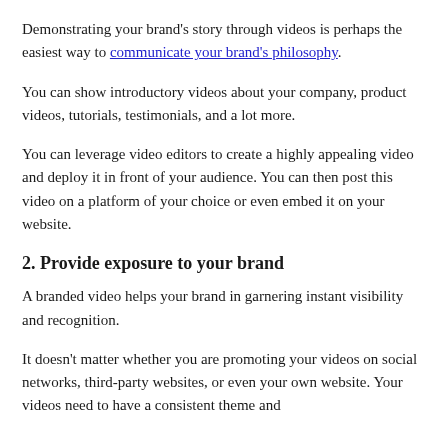Demonstrating your brand's story through videos is perhaps the easiest way to communicate your brand's philosophy.
You can show introductory videos about your company, product videos, tutorials, testimonials, and a lot more.
You can leverage video editors to create a highly appealing video and deploy it in front of your audience. You can then post this video on a platform of your choice or even embed it on your website.
2. Provide exposure to your brand
A branded video helps your brand in garnering instant visibility and recognition.
It doesn't matter whether you are promoting your videos on social networks, third-party websites, or even your own website. Your videos need to have a consistent theme and